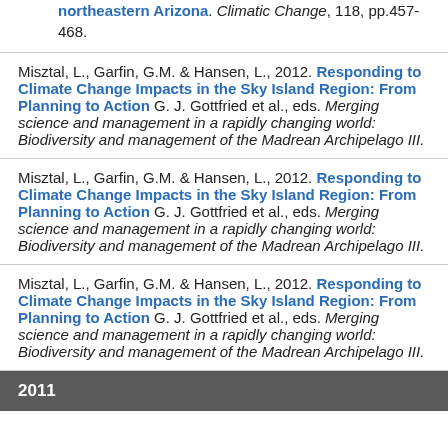northeastern Arizona. Climatic Change, 118, pp.457-468.
Misztal, L., Garfin, G.M. & Hansen, L., 2012. Responding to Climate Change Impacts in the Sky Island Region: From Planning to Action G. J. Gottfried et al., eds. Merging science and management in a rapidly changing world: Biodiversity and management of the Madrean Archipelago III.
Misztal, L., Garfin, G.M. & Hansen, L., 2012. Responding to Climate Change Impacts in the Sky Island Region: From Planning to Action G. J. Gottfried et al., eds. Merging science and management in a rapidly changing world: Biodiversity and management of the Madrean Archipelago III.
Misztal, L., Garfin, G.M. & Hansen, L., 2012. Responding to Climate Change Impacts in the Sky Island Region: From Planning to Action G. J. Gottfried et al., eds. Merging science and management in a rapidly changing world: Biodiversity and management of the Madrean Archipelago III.
2011